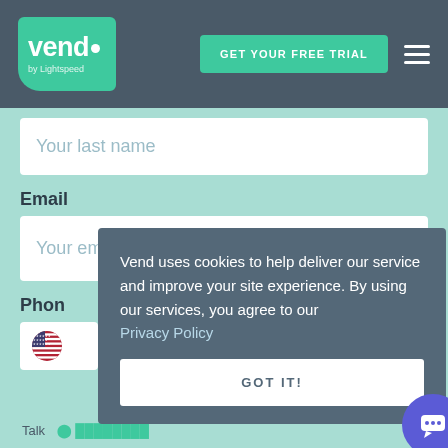[Figure (logo): Vend by Lightspeed logo — green rounded rectangle with white 'vend.' text]
GET YOUR FREE TRIAL
Your last name
Email
Your email address
Phon
[Figure (illustration): US flag circle icon in phone field]
Vend uses cookies to help deliver our service and improve your site experience. By using our services, you agree to our Privacy Policy
GOT IT!
Talk
[Figure (illustration): Blue circular chat support button with white speech bubble icon]